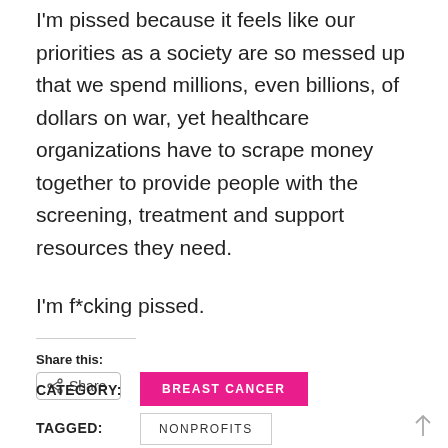I'm pissed because it feels like our priorities as a society are so messed up that we spend millions, even billions, of dollars on war, yet healthcare organizations have to scrape money together to provide people with the screening, treatment and support resources they need.
I'm f*cking pissed.
Share this:
[Figure (other): Share button with share icon]
CATEGORY:
BREAST CANCER
TAGGED:
NONPROFITS